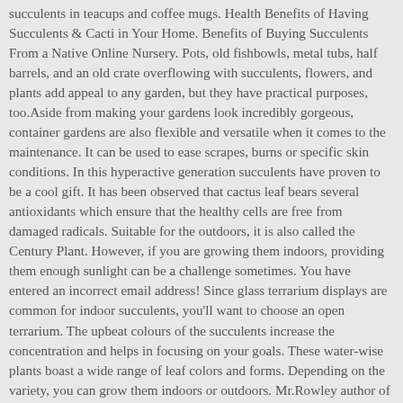succulents in teacups and coffee mugs. Health Benefits of Having Succulents & Cacti in Your Home. Benefits of Buying Succulents From a Native Online Nursery. Pots, old fishbowls, metal tubs, half barrels, and an old crate overflowing with succulents, flowers, and plants add appeal to any garden, but they have practical purposes, too.Aside from making your gardens look incredibly gorgeous, container gardens are also flexible and versatile when it comes to the maintenance. It can be used to ease scrapes, burns or specific skin conditions. In this hyperactive generation succulents have proven to be a cool gift. It has been observed that cactus leaf bears several antioxidants which ensure that the healthy cells are free from damaged radicals. Suitable for the outdoors, it is also called the Century Plant. However, if you are growing them indoors, providing them enough sunlight can be a challenge sometimes. You have entered an incorrect email address! Since glass terrarium displays are common for indoor succulents, you'll want to choose an open terrarium. The upbeat colours of the succulents increase the concentration and helps in focusing on your goals. These water-wise plants boast a wide range of leaf colors and forms. Depending on the variety, you can grow them indoors or outdoors. Mr.Rowley author of the book ', Other than calming blood pressure succulents can cure sore throat, common cold and dry itchy skin. We've all seen the myriad of images of gorgeous terrarium